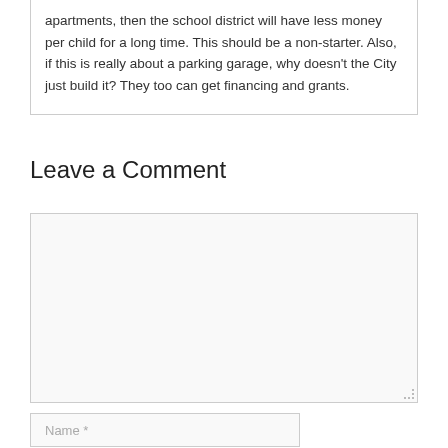apartments, then the school district will have less money per child for a long time. This should be a non-starter. Also, if this is really about a parking garage, why doesn't the City just build it? They too can get financing and grants.
Leave a Comment